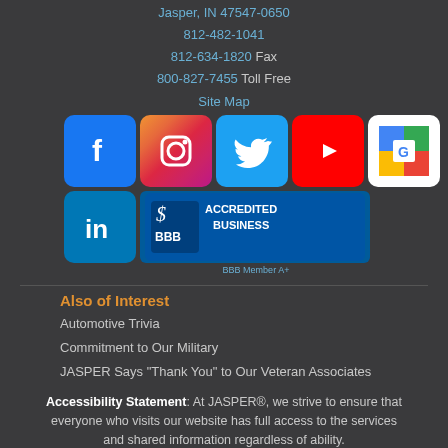Jasper, IN 47547-0650
812-482-1041
812-634-1820 Fax
800-827-7455 Toll Free
Site Map
[Figure (logo): Social media icons: Facebook, Instagram, Twitter, YouTube, Google Maps, LinkedIn, and BBB Accredited Business badge]
BBB Member A+
Also of Interest
Automotive Trivia
Commitment to Our Military
JASPER Says "Thank You" to Our Veteran Associates
Accessibility Statement: At JASPER®, we strive to ensure that everyone who visits our website has full access to the services and shared information regardless of ability.

If you experience any issues accessing the information on our site, please call us at 800-827-7455 ext. 12698, Monday through Friday, 7:00 am to 3:30 pm EST, for assistance.